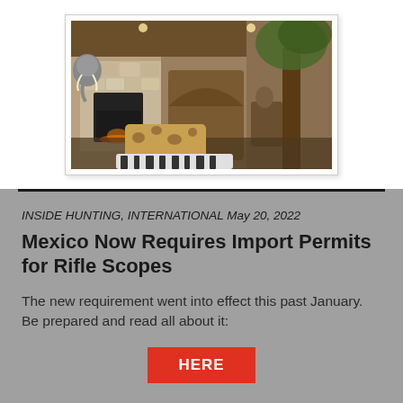[Figure (photo): Interior of a hunting lodge with mounted animal trophies including an elephant head, various African animals, a stone fireplace, giraffe-print sofa, and a large tree decoration. Dark hardwood floors visible.]
INSIDE HUNTING, INTERNATIONAL May 20, 2022
Mexico Now Requires Import Permits for Rifle Scopes
The new requirement went into effect this past January. Be prepared and read all about it:
HERE